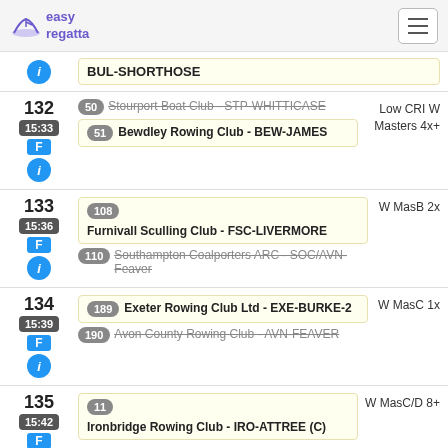easy regatta
BUL-SHORTHOSE
132 | 15:33 | F | Race 132 - Stourport Boat Club - STP-WHITTICASE (50, struck) | Bewdley Rowing Club - BEW-JAMES (51) | Low CRI W Masters 4x+
133 | 15:36 | F | Furnivall Sculling Club - FSC-LIVERMORE (108) | Southampton Coalporters ARC - SOC/AVN-Feaver (110, struck) | W MasB 2x
134 | 15:39 | F | Exeter Rowing Club Ltd - EXE-BURKE-2 (189) | Avon County Rowing Club - AVN-FEAVER (190, struck) | W MasC 1x
135 | 15:42 | F | Ironbridge Rowing Club - IRO-ATTREE (C) (11) | W MasC/D 8+